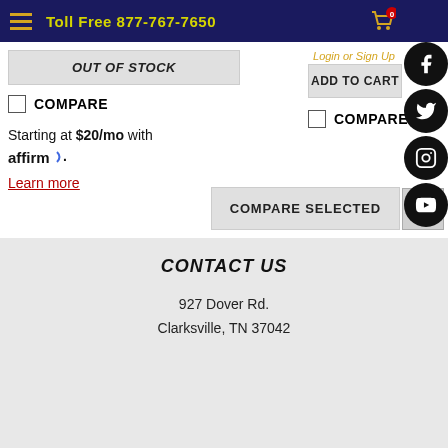Toll Free 877-767-7650
OUT OF STOCK
Login or Sign Up
ADD TO CART
COMPARE
COMPARE
Starting at $20/mo with affirm. Learn more
COMPARE SELECTED
CONTACT US
927 Dover Rd.
Clarksville, TN 37042